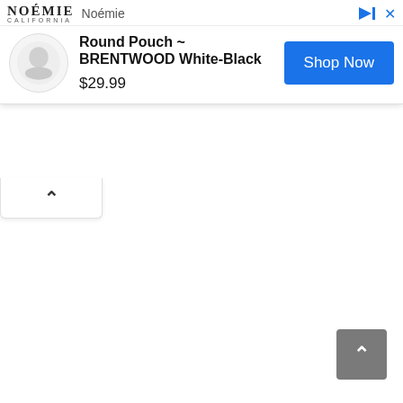[Figure (screenshot): Noémie brand advertisement banner showing 'Round Pouch ~ BRENTWOOD White-Black' product priced at $29.99 with a 'Shop Now' button. The ad includes the Noémie California logo, a circular product image, and UI controls including a collapse chevron and scroll-to-top button.]